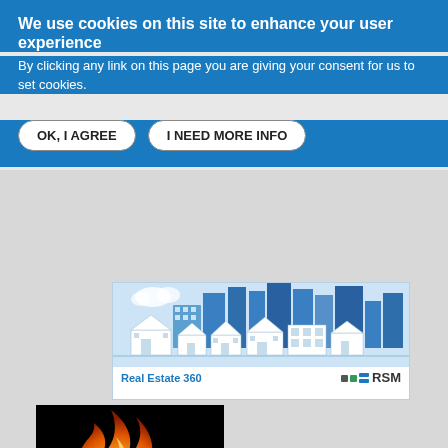We use cookies on this site to enhance your user experience
By clicking any link on this page you are giving your consent for us to set cookies.
OK, I AGREE | I NEED MORE INFO
[Figure (illustration): RSM Real Estate 360 advertisement banner showing a blue illustrated city skyline with buildings, houses and clouds on a light blue background, with 'Real Estate 360' text in blue and RSM logo at bottom right]
[Figure (logo): Cambridge Torchbearers logo on black background featuring an orange flame graphic above the text CAMBRIDGE in white and TORCHBEARERS in orange/gold letters]